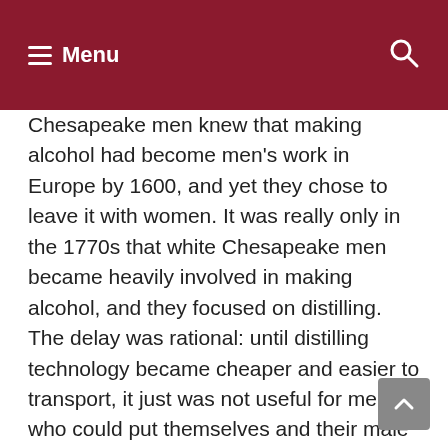Menu
Chesapeake men knew that making alcohol had become men’s work in Europe by 1600, and yet they chose to leave it with women. It was really only in the 1770s that white Chesapeake men became heavily involved in making alcohol, and they focused on distilling. The delay was rational: until distilling technology became cheaper and easier to transport, it just was not useful for men who could put themselves and their male laborers to work growing tobacco. Tobacco was and is a demanding crop; it left little time for leisure or experimentation.
The American Revolution finished the